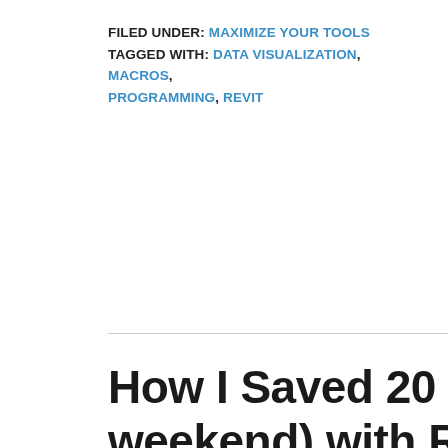FILED UNDER: MAXIMIZE YOUR TOOLS
TAGGED WITH: DATA VISUALIZATION, MACROS, PROGRAMMING, REVIT
How I Saved 20 Hours (and my weekend) with Revit Macros
AUGUST 5, 2014 BY MICHAEL KILKELLY — 7 COMMENTS
[Figure (photo): A blue hammock with ropes, photographed outdoors with a blurred green background. Image is partially cropped at the bottom of the page.]
I do